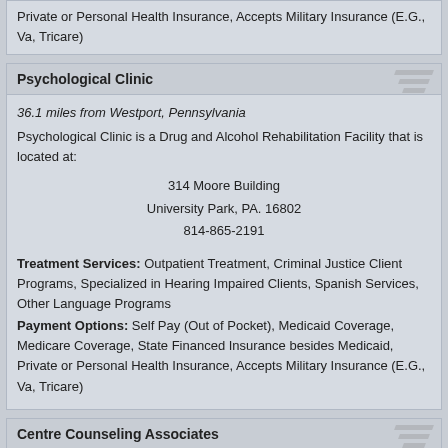Private or Personal Health Insurance, Accepts Military Insurance (E.G., Va, Tricare)
Psychological Clinic
36.1 miles from Westport, Pennsylvania
Psychological Clinic is a Drug and Alcohol Rehabilitation Facility that is located at:

314 Moore Building
University Park, PA. 16802
814-865-2191

Treatment Services: Outpatient Treatment, Criminal Justice Client Programs, Specialized in Hearing Impaired Clients, Spanish Services, Other Language Programs
Payment Options: Self Pay (Out of Pocket), Medicaid Coverage, Medicare Coverage, State Financed Insurance besides Medicaid, Private or Personal Health Insurance, Accepts Military Insurance (E.G., Va, Tricare)
Centre Counseling Associates
36.5 miles from Westport, Pennsylvania
Centre Counseling Associates is a Drug and Alcohol Treatment Program that is located at:

103 East Beaver Avenue